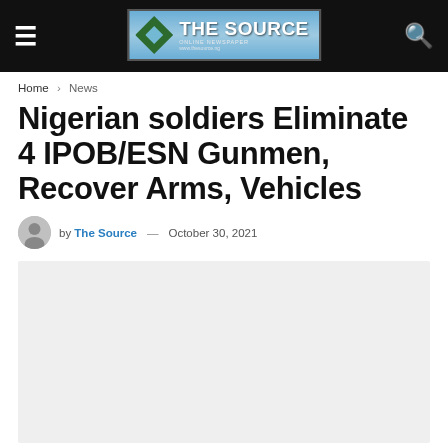THE SOURCE — Online Newspaper
Home › News
Nigerian soldiers Eliminate 4 IPOB/ESN Gunmen, Recover Arms, Vehicles
by The Source — October 30, 2021
[Figure (photo): Featured article image placeholder (light grey box)]